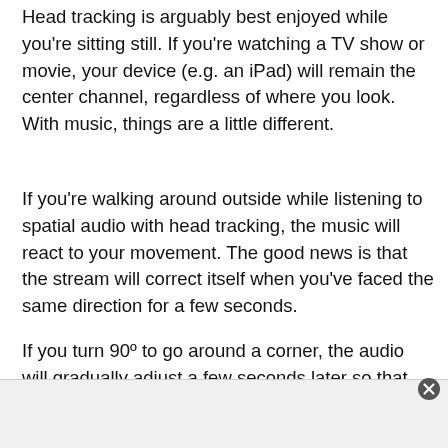Head tracking is arguably best enjoyed while you're sitting still. If you're watching a TV show or movie, your device (e.g. an iPad) will remain the center channel, regardless of where you look. With music, things are a little different.
If you're walking around outside while listening to spatial audio with head tracking, the music will react to your movement. The good news is that the stream will correct itself when you've faced the same direction for a few seconds.
If you turn 90º to go around a corner, the audio will gradually adjust a few seconds later so that the direction you are facing becomes the new “center” position. It takes